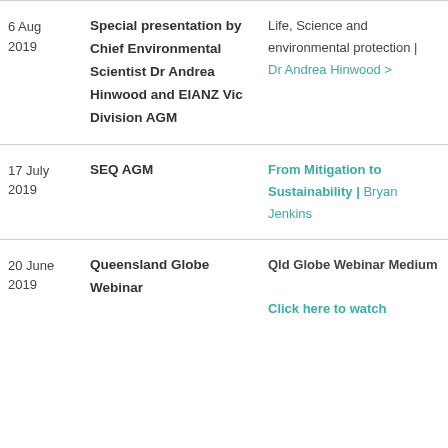| Date | Event | Details |
| --- | --- | --- |
| 6 Aug 2019 | Special presentation by Chief Environmental Scientist Dr Andrea Hinwood and EIANZ Vic Division AGM | Life, Science and environmental protection | Dr Andrea Hinwood > |
| 17 July 2019 | SEQ AGM | From Mitigation to Sustainability | Bryan Jenkins |
| 20 June 2019 | Queensland Globe Webinar | Qld Globe Webinar Medium
Click here to watch |